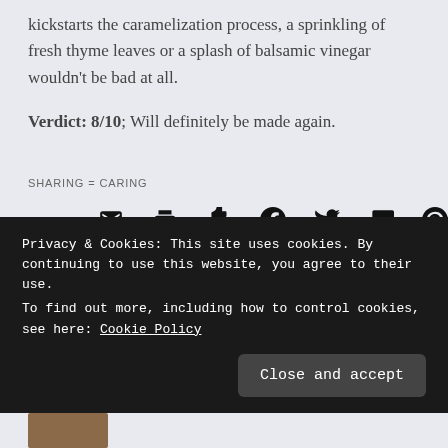kickstarts the caramelization process, a sprinkling of fresh thyme leaves or a splash of balsamic vinegar wouldn't be bad at all.
Verdict: 8/10; Will definitely be made again.
SHARING = CARING
[Figure (infographic): Row of social sharing icons: email, print, Tumblr, Facebook, Twitter, Pocket, Pinterest (with badge showing 1)]
Loading...
Privacy & Cookies: This site uses cookies. By continuing to use this website, you agree to their use. To find out more, including how to control cookies, see here: Cookie Policy
Close and accept